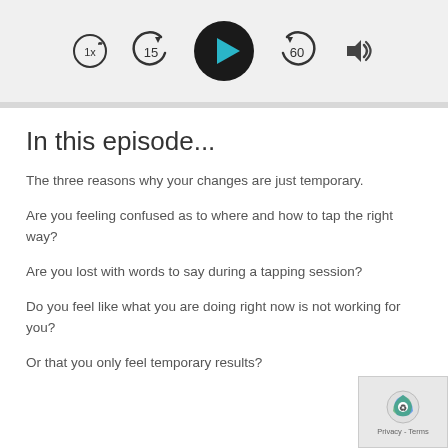[Figure (screenshot): Audio player controls bar with speed button (1x), rewind 15 seconds button, play button (large black circle with teal triangle), forward 60 seconds button, and volume button on a light gray background.]
In this episode...
The three reasons why your changes are just temporary.
Are you feeling confused as to where and how to tap the right way?
Are you lost with words to say during a tapping session?
Do you feel like what you are doing right now is not working for you?
Or that you only feel temporary results?